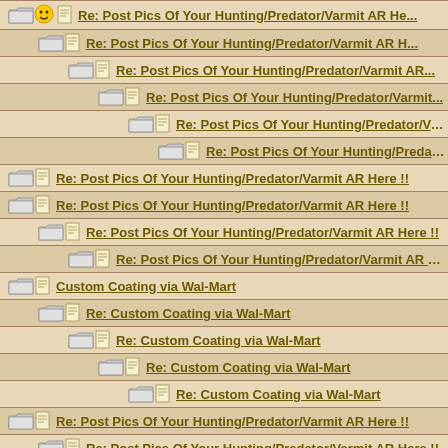Re: Post Pics Of Your Hunting/Predator/Varmit AR He...
Re: Post Pics Of Your Hunting/Predator/Varmit AR H...
Re: Post Pics Of Your Hunting/Predator/Varmit AR...
Re: Post Pics Of Your Hunting/Predator/Varmit...
Re: Post Pics Of Your Hunting/Predator/Varm...
Re: Post Pics Of Your Hunting/Predator/Va...
Re: Post Pics Of Your Hunting/Predator/Varmit AR Here !!
Re: Post Pics Of Your Hunting/Predator/Varmit AR Here !!
Re: Post Pics Of Your Hunting/Predator/Varmit AR Here !!
Re: Post Pics Of Your Hunting/Predator/Varmit AR Here !!
Custom Coating via Wal-Mart
Re: Custom Coating via Wal-Mart
Re: Custom Coating via Wal-Mart
Re: Custom Coating via Wal-Mart
Re: Custom Coating via Wal-Mart
Re: Post Pics Of Your Hunting/Predator/Varmit AR Here !!
Re: Post Pics Of Your Hunting/Predator/Varmit AR Here !!
Re: Post Pics Of Your Hunting/Predator/Varmit AR Here...